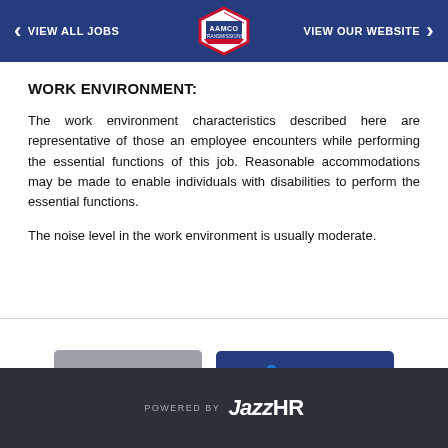VIEW ALL JOBS | AAMCO | VIEW OUR WEBSITE
WORK ENVIRONMENT:
The work environment characteristics described here are representative of those an employee encounters while performing the essential functions of this job. Reasonable accommodations may be made to enable individuals with disabilities to perform the essential functions.
The noise level in the work environment is usually moderate.
POWERED BY JazzHR